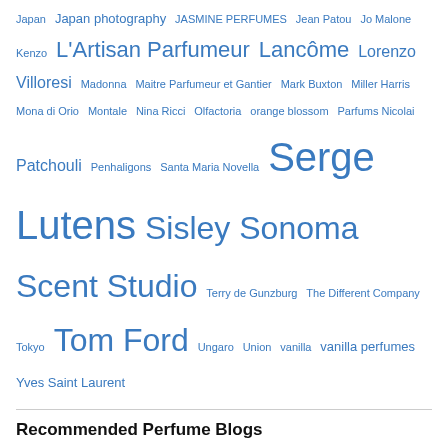Japan Japan photography JASMINE PERFUMES Jean Patou Jo Malone Kenzo L'Artisan Parfumeur Lancôme Lorenzo Villoresi Madonna Maitre Parfumeur et Gantier Mark Buxton Miller Harris Mona di Orio Montale Nina Ricci Olfactoria orange blossom Parfums Nicolai Patchouli Penhaligons Santa Maria Novella Serge Lutens Sisley Sonoma Scent Studio Terry de Gunzburg The Different Company Tokyo Tom Ford Ungaro Union vanilla vanilla perfumes Yves Saint Laurent
Recommended Perfume Blogs
Bois de Jasmin
British Beauty Blogger
Grain de Musc
Memory of Scent
Muse In Wooden Shoes
Olfactoria
One Thousand Fragrances
One Thousand Scents